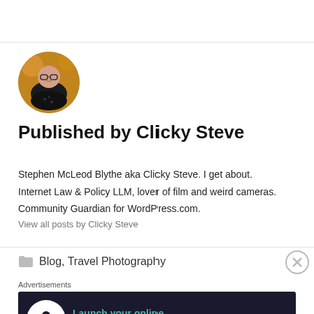[Figure (photo): Circular avatar photo of a person wearing glasses and a dark polka-dot top, smiling, with a warm bokeh background.]
Published by Clicky Steve
Stephen McLeod Blythe aka Clicky Steve. I get about. Internet Law & Policy LLM, lover of film and weird cameras. Community Guardian for WordPress.com.
View all posts by Clicky Steve
Blog, Travel Photography
Advertisements
[Figure (screenshot): Dark advertisement banner for WordPress: 'Launch your online course with WordPress' with a Learn More CTA button.]